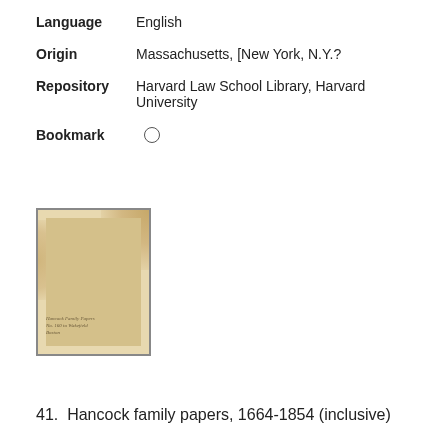Language   English
Origin   Massachusetts, [New York, N.Y.?
Repository   Harvard Law School Library, Harvard University
Bookmark   ○
[Figure (photo): Thumbnail image of an aged document with brown staining, showing faint handwritten or printed text near the bottom.]
41.  Hancock family papers, 1664-1854 (inclusive)